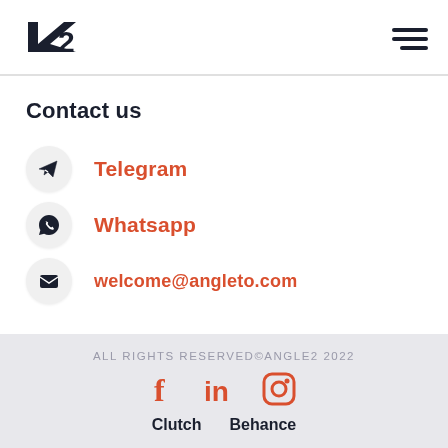[Figure (logo): Angle2 logo — stylized L2 text in dark navy]
[Figure (other): Hamburger menu icon — three horizontal lines]
Contact us
Telegram
Whatsapp
welcome@angleto.com
ALL RIGHTS RESERVED©ANGLE2 2022
f in (instagram) Clutch Behance